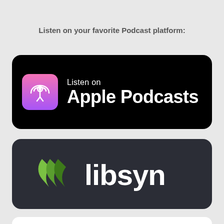Listen on your favorite Podcast platform:
[Figure (logo): Apple Podcasts badge — black rounded rectangle with purple podcast icon and white text 'Listen on Apple Podcasts']
[Figure (logo): Libsyn badge — dark rounded rectangle with green double-arrow logo and white 'libsyn' wordmark]
[Figure (logo): Partial white rounded badge at bottom, content cut off]